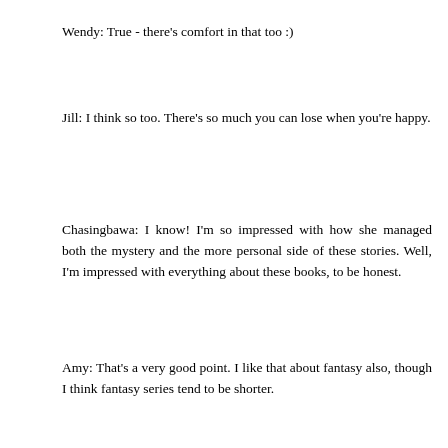Wendy: True - there's comfort in that too :)
Jill: I think so too. There's so much you can lose when you're happy.
Chasingbawa: I know! I'm so impressed with how she managed both the mystery and the more personal side of these stories. Well, I'm impressed with everything about these books, to be honest.
Amy: That's a very good point. I like that about fantasy also, though I think fantasy series tend to be shorter. Maybe because with fantasy there's more of an overall plot that stretches through the series, and with mysteries each book has its own plot. Though there are exceptions, of course, like Discworld. No wonder I love it so :P
Aarti: I just worry Peter sans Harriet won't be as appealing - so promise me you won't give up on these if you don't like those early ones quite as much :P
Kathy, thank you! And yay, I'm glad you're going to give her